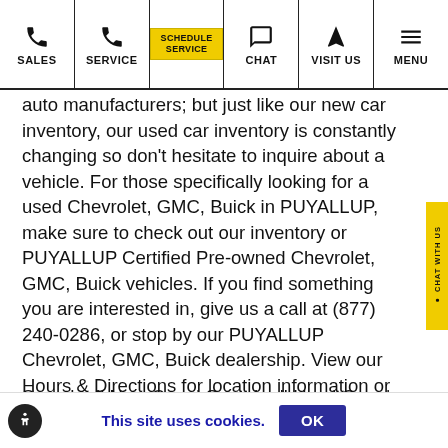SALES | SERVICE | SCHEDULE SERVICE | CHAT | VISIT US | MENU
auto manufacturers; but just like our new car inventory, our used car inventory is constantly changing so don’t hesitate to inquire about a vehicle. For those specifically looking for a used Chevrolet, GMC, Buick in PUYALLUP, make sure to check out our inventory or PUYALLUP Certified Pre-owned Chevrolet, GMC, Buick vehicles. If you find something you are interested in, give us a call at (877) 240-0286, or stop by our PUYALLUP Chevrolet, GMC, Buick dealership. View our Hours & Directions for location information or Contact Us with any questions you may have.
Search all New Cars | Search all Used Cars | Auto Repair
This site uses cookies.  OK